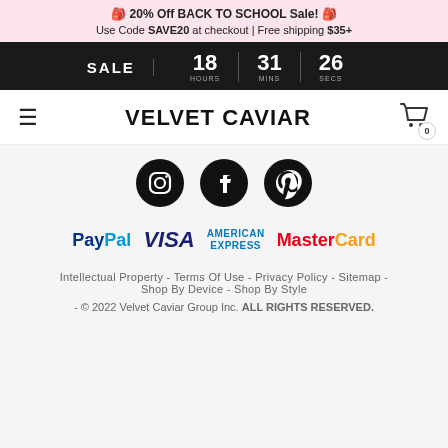🎒 20% Off BACK TO SCHOOL Sale! 🎒
Use Code SAVE20 at checkout | Free shipping $35+
SALE  18 HOURS  31 MINS  26 SECS
VELVET CAVIAR
[Figure (logo): Instagram, Facebook, and Pinterest social media icons (black circles with white logos)]
[Figure (logo): Payment method logos: PayPal, VISA, American Express, MasterCard]
Intellectual Property - Terms Of Use - Privacy Policy - Sitemap - Shop By Device - Shop By Style
- © 2022 Velvet Caviar Group Inc. ALL RIGHTS RESERVED.